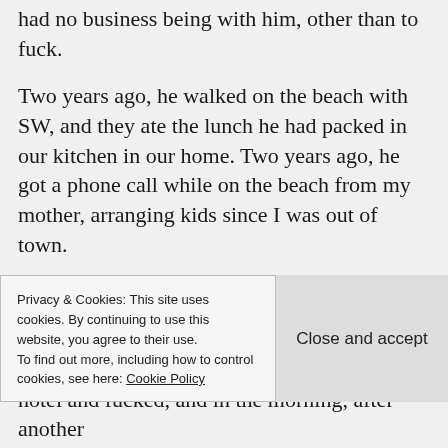had no business being with him, other than to fuck.
Two years ago, he walked on the beach with SW, and they ate the lunch he had packed in our kitchen in our home. Two years ago, he got a phone call while on the beach from my mother, arranging kids since I was out of town.
Two years ago, SW and HUSBAND went into a local famous watering hole, asking the bartender for a good eatery suggestion. Two years ago, they walked down the street of the town holding hands til they
Privacy & Cookies: This site uses cookies. By continuing to use this website, you agree to their use.
To find out more, including how to control cookies, see here: Cookie Policy
Close and accept
hotel and fucked, and in the morning, after another